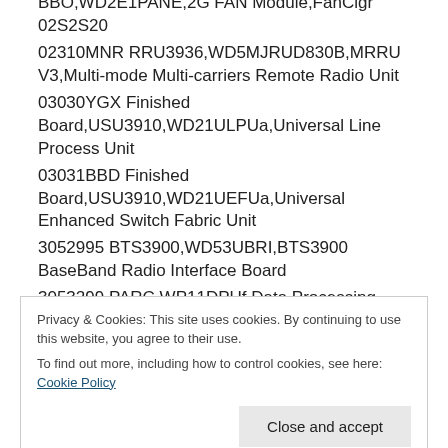BBO,WD2E1PANE,2G FAN Module,FanClgr 02S2S20
02310MNR RRU3936,WD5MJRUD830B,MRRU V3,Multi-mode Multi-carriers Remote Radio Unit
03030YGX Finished Board,USU3910,WD21ULPUa,Universal Line Process Unit
03031BBD Finished Board,USU3910,WD21UEFUa,Universal Enhanced Switch Fabric Unit
3052995 BTS3900,WD53UBRI,BTS3900 BaseBand Radio Interface Board
3053299 PARC WP11DPUf Data Processing Unit
Privacy & Cookies: This site uses cookies. By continuing to use this website, you agree to their use.
To find out more, including how to control cookies, see here: Cookie Policy
Close and accept
interface Unit(-48V)